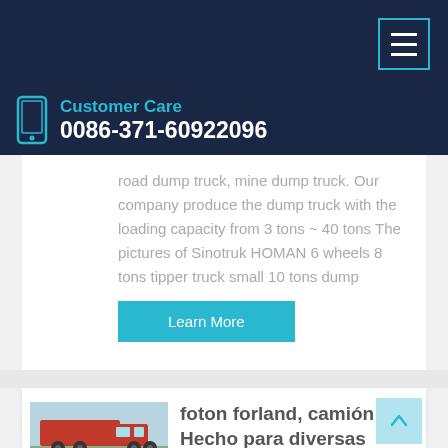Customer Care 0086-371-60922096
road dump truck, mine dump truck. Our company produce the dump truck with the loading capacity from 3 tons ~ 40 tons The pictures of Sinotruk HOMAN 6 wheels 8 tons tipper truck small 10 tons dump
Learn More
[Figure (photo): Red dump truck / tipper truck, front-side view, outdoor setting]
foton forland, camión Hecho para diversas industrias